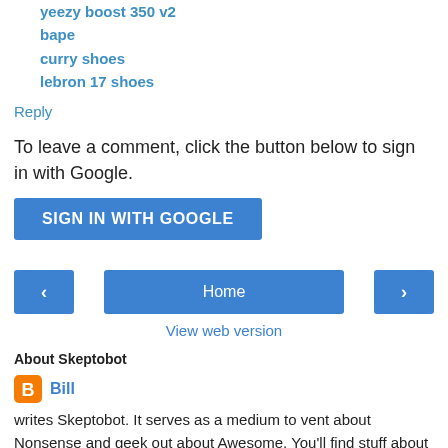yeezy boost 350 v2
bape
curry shoes
lebron 17 shoes
Reply
To leave a comment, click the button below to sign in with Google.
SIGN IN WITH GOOGLE
[Figure (other): Navigation bar with left arrow button, Home button, and right arrow button]
View web version
About Skeptobot
Bill
writes Skeptobot. It serves as a medium to vent about Nonsense and geek out about Awesome. You'll find stuff about Badscience,